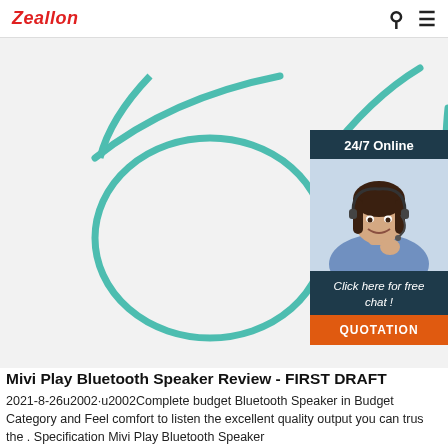Zealon
[Figure (photo): Bluetooth neckband earphones in teal/green color on white background, with inline remote/control unit visible]
[Figure (infographic): Side widget showing '24/7 Online' banner, customer service representative photo, 'Click here for free chat!' text, and orange QUOTATION button]
Mivi Play Bluetooth Speaker Review - FIRST DRAFT
2021-8-26u2002·u2002Complete budget Bluetooth Speaker in Budget Category and Feel comfort to listen the excellent quality output you can trus the . Specification Mivi Play Bluetooth Speaker